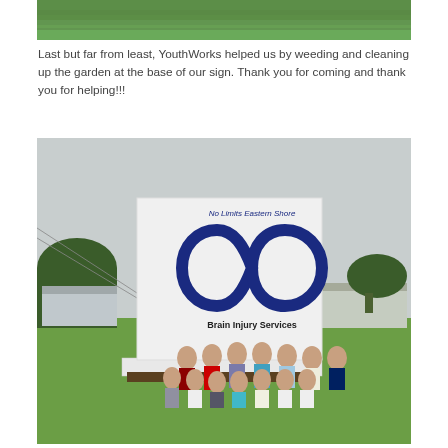[Figure (photo): Top of page: cropped photo showing green grass lawn from above]
Last but far from least, YouthWorks helped us by weeding and cleaning up the garden at the base of our sign. Thank you for coming and thank you for helping!!!
[Figure (photo): Group photo of approximately 20 youth and adults standing in front of a 'No Limits Eastern Shore Brain Injury Services' sign featuring an infinity symbol logo. The sign is white with a dark blue infinity symbol. A building, trees, and parking lot are visible in the background on a cloudy day.]